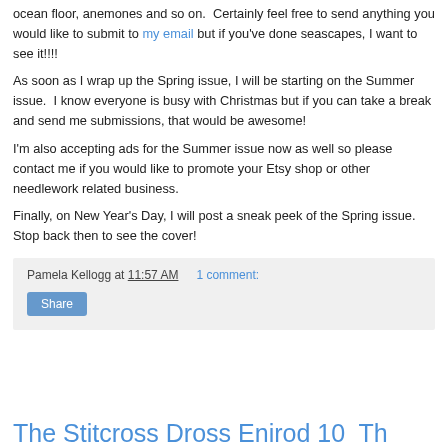ocean floor, anemones and so on.  Certainly feel free to send anything you would like to submit to my email but if you've done seascapes, I want to see it!!!!
As soon as I wrap up the Spring issue, I will be starting on the Summer issue.  I know everyone is busy with Christmas but if you can take a break and send me submissions, that would be awesome!
I'm also accepting ads for the Summer issue now as well so please contact me if you would like to promote your Etsy shop or other needlework related business.
Finally, on New Year's Day, I will post a sneak peek of the Spring issue.  Stop back then to see the cover!
Pamela Kellogg at 11:57 AM    1 comment:
Share
The Stitcross Dross Enirod 10  Th